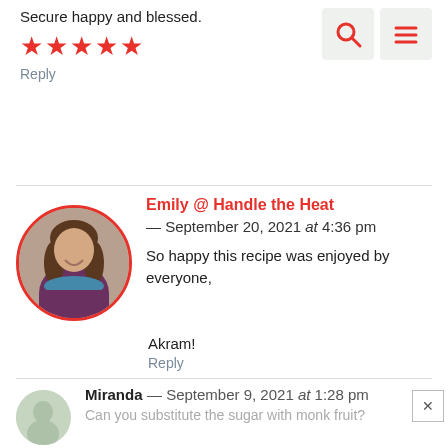Secure happy and blessed.
★★★★★
Reply
[Figure (illustration): Search icon (magnifying glass) in a light grey rounded box]
[Figure (illustration): Hamburger menu icon (three horizontal red lines) in a light grey rounded box]
[Figure (photo): Circular avatar photo of Emily, a woman with brown hair smiling, holding something, in a kitchen setting. Red circular border.]
Emily @ Handle the Heat — September 20, 2021 at 4:36 pm
So happy this recipe was enjoyed by everyone, Akram!
Reply
[Figure (photo): Partial circular avatar of Miranda, light green/grey background.]
Miranda — September 9, 2021 at 1:28 pm
Can you substitute the sugar with monk fruit?